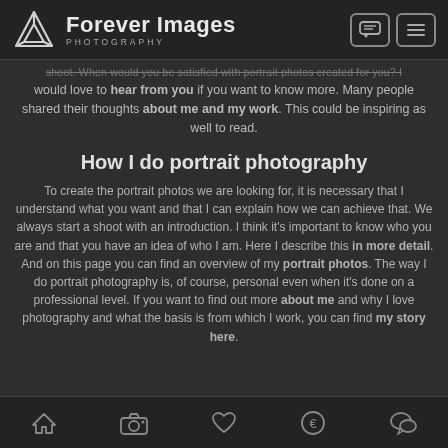Forever Images Photography
shoot. When would you be satisfied with portrait photos created for you? I would love to hear from you if you want to know more. Many people shared their thoughts about me and my work. This could be inspiring as well to read.
How I do portrait photography
To create the portrait photos we are looking for, it is necessary that I understand what you want and that I can explain how we can achieve that. We always start a shoot with an introduction. I think it's important to know who you are and that you have an idea of who I am. Here I describe this in more detail. And on this page you can find an overview of my portrait photos. The way I do portrait photography is, of course, personal even when it's done on a professional level. If you want to find out more about me and why I love photography and what the basis is from which I work, you can find my story here.
Navigation: Home, Camera, Favorites, Pricing, Chat